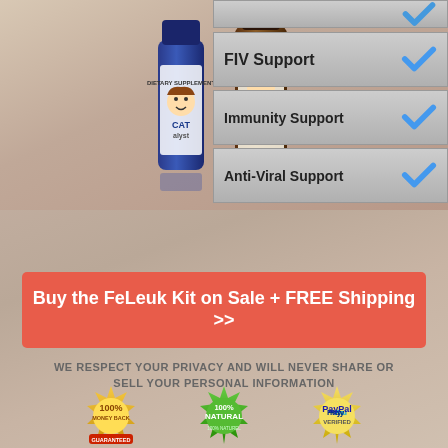[Figure (photo): Two product bottles - CATalyst (blue bottle) and VIRAx Feline Formula (amber bottle) on a textured background]
FIV Support ✓
Immunity Support ✓
Anti-Viral Support ✓
Buy the FeLeuk Kit on Sale + FREE Shipping >>
WE RESPECT YOUR PRIVACY AND WILL NEVER SHARE OR SELL YOUR PERSONAL INFORMATION
[Figure (illustration): Three trust badges: 100% Money Back Guaranteed (gold/red), 100% Natural (green), PayPal Verified (gold)]